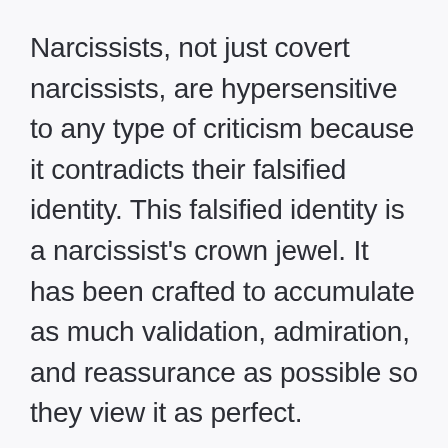Narcissists, not just covert narcissists, are hypersensitive to any type of criticism because it contradicts their falsified identity. This falsified identity is a narcissist's crown jewel. It has been crafted to accumulate as much validation, admiration, and reassurance as possible so they view it as perfect.
When a narcissist receives a criticism it contradicts core aspects of their falsified identity like their sense of specialness, uniqueness, and